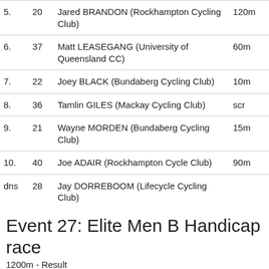| Pos | No | Name | Handicap |
| --- | --- | --- | --- |
| 5. | 20 | Jared BRANDON (Rockhampton Cycling Club) | 120m |
| 6. | 37 | Matt LEASEGANG (University of Queensland CC) | 60m |
| 7. | 22 | Joey BLACK (Bundaberg Cycling Club) | 10m |
| 8. | 36 | Tamlin GILES (Mackay Cycling Club) | scr |
| 9. | 21 | Wayne MORDEN (Bundaberg Cycling Club) | 15m |
| 10. | 40 | Joe ADAIR (Rockhampton Cycle Club) | 90m |
| dns | 28 | Jay DORREBOOM (Lifecycle Cycling Club) |  |
Event 27: Elite Men B Handicap race
1200m - Result
| Pos | No | Name | Handicap |
| --- | --- | --- | --- |
| 1. | 13 | Hamish WRIGHT (Mackay Cycling Club) | 10m |
| 2. | 16 | Mitchell DAVIS (Bundaberg Cycling Club) | 25m |
| 3. | 14 | John HICKSON (University of Queensland CC) | scr |